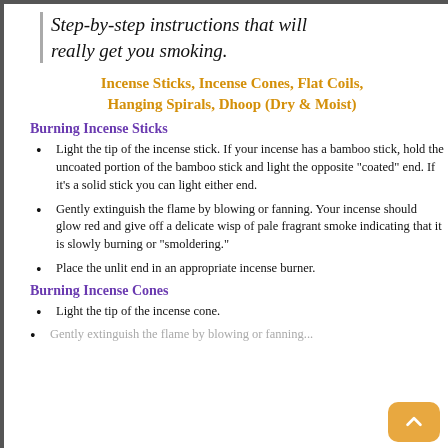Step-by-step instructions that will really get you smoking.
Incense Sticks, Incense Cones, Flat Coils, Hanging Spirals, Dhoop (Dry & Moist)
Burning Incense Sticks
Light the tip of the incense stick. If your incense has a bamboo stick, hold the uncoated portion of the bamboo stick and light the opposite "coated" end. If it's a solid stick you can light either end.
Gently extinguish the flame by blowing or fanning. Your incense should glow red and give off a delicate wisp of pale fragrant smoke indicating that it is slowly burning or "smoldering."
Place the unlit end in an appropriate incense burner.
Burning Incense Cones
Light the tip of the incense cone.
Gently extinguish the flame by blowing or fanning...